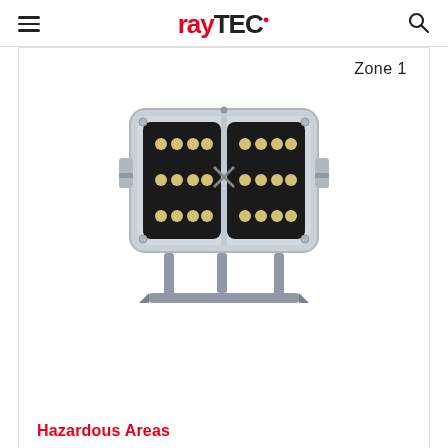raytec (logo with hamburger menu and search icon)
Zone 1
[Figure (photo): Industrial LED floodlight fixture in grey housing with two panels of LED arrays, mounted on bracket stand. The fixture has a rectangular grey body with two black LED modules each containing three rows of warm LED emitters, with mounting bracket at bottom.]
Hazardous Areas